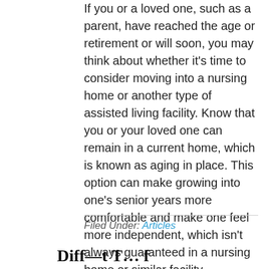If you or a loved one, such as a parent, have reached the age or retirement or will soon, you may think about whether it's time to consider moving into a nursing home or another type of assisted living facility. Know that you or your loved one can remain in a current home, which is known as aging in place. This option can make growing into one's senior years more comfortable and make one feel more independent, which isn't always guaranteed in a nursing home or similar facility. [Read more...]
Filed Under: Articles